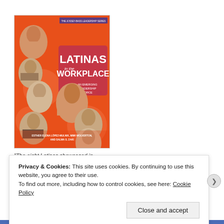[Figure (illustration): Book cover for 'Latinas in the Workplace: An Emerging Leadership Force' by Esther Elena López-Mulnix, Mimi Wolverton, and Salwa S. Zaki. Orange background with photos of eight Latina women, large bold white title text.]
"The eight Latinas showcased in
Privacy & Cookies: This site uses cookies. By continuing to use this website, you agree to their use.
To find out more, including how to control cookies, see here: Cookie Policy
Close and accept